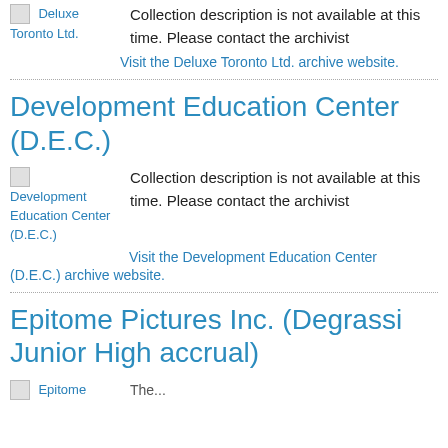[Figure (illustration): Thumbnail image for Deluxe Toronto Ltd. with broken image icon and blue link text]
Collection description is not available at this time. Please contact the archivist
Visit the Deluxe Toronto Ltd. archive website.
Development Education Center (D.E.C.)
[Figure (illustration): Thumbnail image for Development Education Center (D.E.C.) with broken image icon and blue link text]
Collection description is not available at this time. Please contact the archivist
Visit the Development Education Center (D.E.C.) archive website.
Epitome Pictures Inc. (Degrassi Junior High accrual)
[Figure (illustration): Thumbnail image for Epitome Pictures Inc. partially visible at bottom]